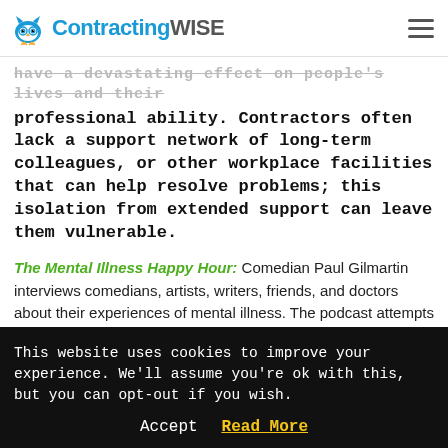ContractingWISE
have a devastating effect on people's lives and their professional ability. Contractors often lack a support network of long-term colleagues, or other workplace facilities that can help resolve problems; this isolation from extended support can leave them vulnerable.
The Mental Illness Happy Hour: Comedian Paul Gilmartin interviews comedians, artists, writers, friends, and doctors about their experiences of mental illness. The podcast attempts to normalise and de-stigmatise mental health issues by reflecting that nobody is
This website uses cookies to improve your experience. We'll assume you're ok with this, but you can opt-out if you wish. Accept Read More